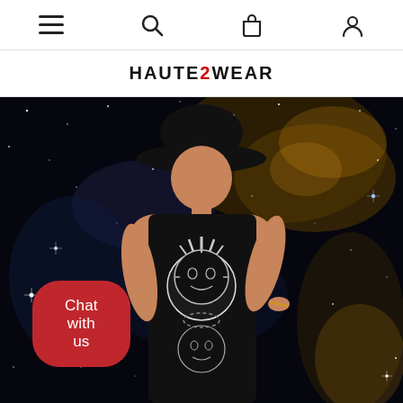Navigation bar with menu, search, cart, and account icons
HAUTE2WEAR
[Figure (photo): A woman wearing a black halter dress with sun/celestial face print motif and a wide-brim black hat, posing in front of a space/nebula background with stars and cosmic clouds.]
Chat with us